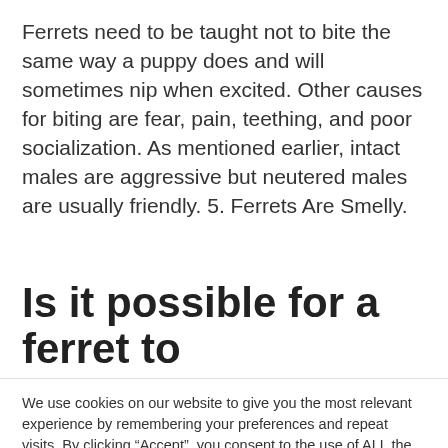Ferrets need to be taught not to bite the same way a puppy does and will sometimes nip when excited. Other causes for biting are fear, pain, teething, and poor socialization. As mentioned earlier, intact males are aggressive but neutered males are usually friendly. 5. Ferrets Are Smelly.
Is it possible for a ferret to
We use cookies on our website to give you the most relevant experience by remembering your preferences and repeat visits. By clicking “Accept”, you consent to the use of ALL the cookies.
Do not sell my personal information.
Cookie Settings
Accept